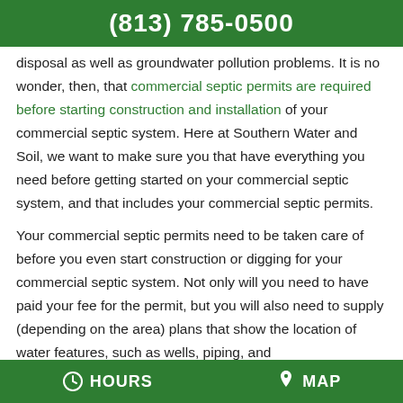(813) 785-0500
disposal as well as groundwater pollution problems. It is no wonder, then, that commercial septic permits are required before starting construction and installation of your commercial septic system. Here at Southern Water and Soil, we want to make sure you that have everything you need before getting started on your commercial septic system, and that includes your commercial septic permits.
Your commercial septic permits need to be taken care of before you even start construction or digging for your commercial septic system. Not only will you need to have paid your fee for the permit, but you will also need to supply (depending on the area) plans that show the location of water features, such as wells, piping, and
HOURS   MAP